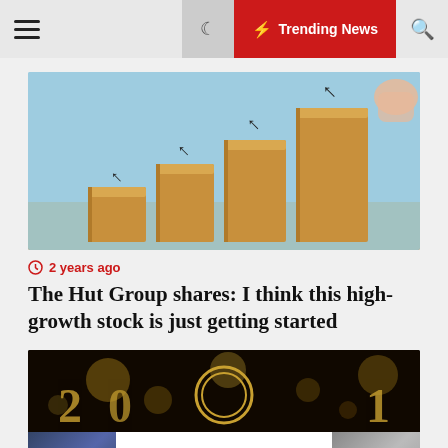☰  🌙  ⚡ Trending News  🔍
[Figure (photo): Staircase of wooden blocks with upward arrows, a hand placing the top block, symbolizing growth]
2 years ago
The Hut Group shares: I think this high-growth stock is just getting started
[Figure (photo): Dark background with gold New Year decoration and bokeh lights, partial golden numbers]
Welcome to the wind-powered McDonald's